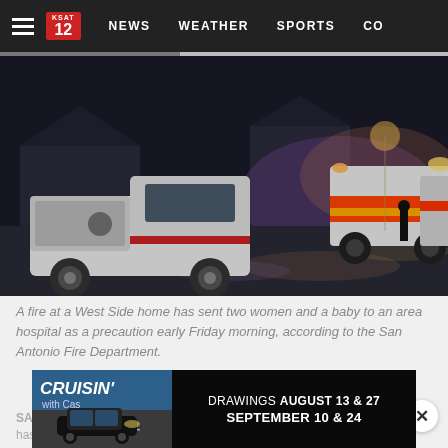NEWS   WEATHER   SPORTS   CO
[Figure (photo): Night scene showing a white fire department pickup truck with red stripe and fire trucks in the background responding to a house fire on a wet street]
A fire at a West Side home has sent two women and a baby to an area hospital as a precaution early Friday morning, according to the San Antonio Fire Department.
[Figure (other): Speech bubble comments icon]
SAN ANTONIO – A fire at a West Side home has sent two women and...
[Figure (other): Advertisement banner: CRUISIN' with Cas - DRAWINGS AUGUST 13 & 27, SEPTEMBER 10 & 24]